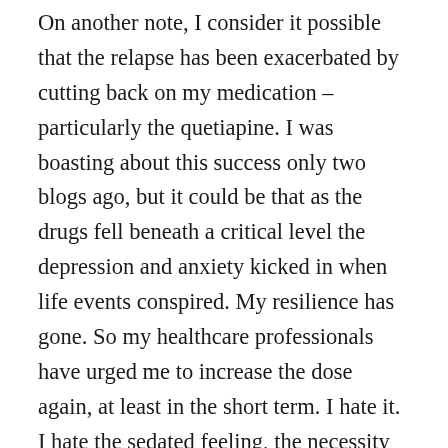On another note, I consider it possible that the relapse has been exacerbated by cutting back on my medication – particularly the quetiapine. I was boasting about this success only two blogs ago, but it could be that as the drugs fell beneath a critical level the depression and anxiety kicked in when life events conspired. My resilience has gone. So my healthcare professionals have urged me to increase the dose again, at least in the short term. I hate it. I hate the sedated feeling, the necessity to sleep so much, and I live in fear of starting to put on weight again after I've fought so hard to lose a little. And I particularly hate the fact I can't concentrate on anything. No wonder I can't write. I can't even read much, and that makes me feel like a failure